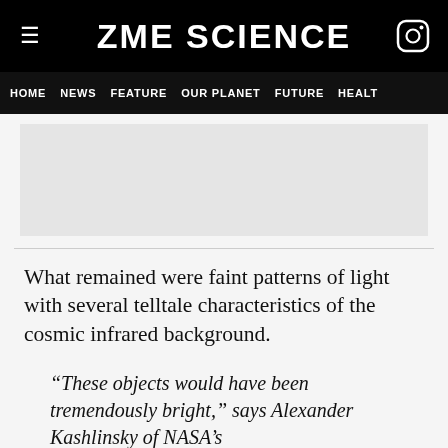ZME SCIENCE
HOME  NEWS  FEATURE  OUR PLANET  FUTURE  HEALTH
[Figure (other): Advertisement placeholder banner]
What remained were faint patterns of light with several telltale characteristics of the cosmic infrared background.
“These objects would have been tremendously bright,” says Alexander Kashlinsky of NASA’s